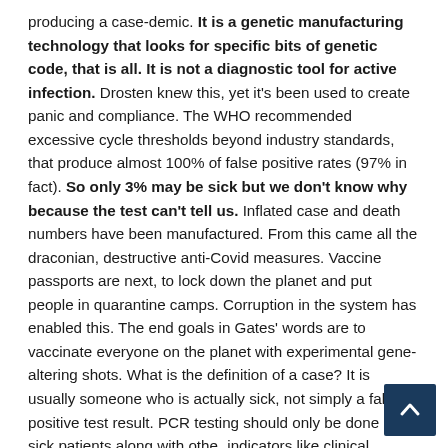producing a case-demic. It is a genetic manufacturing technology that looks for specific bits of genetic code, that is all. It is not a diagnostic tool for active infection. Drosten knew this, yet it's been used to create panic and compliance. The WHO recommended excessive cycle thresholds beyond industry standards, that produce almost 100% of false positive rates (97% in fact). So only 3% may be sick but we don't know why because the test can't tell us. Inflated case and death numbers have been manufactured. From this came all the draconian, destructive anti-Covid measures. Vaccine passports are next, to lock down the planet and put people in quarantine camps. Corruption in the system has enabled this. The end goals in Gates' words are to vaccinate everyone on the planet with experimental gene-altering shots. What is the definition of a case? It is usually someone who is actually sick, not simply a false-positive test result. PCR testing should only be done on sick patients along with other indicators like clinical symptoms. So we've been testing healthy people in large numbers. The major health